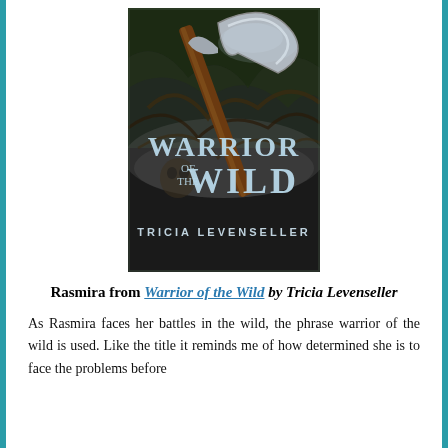[Figure (illustration): Book cover of 'Warrior of the Wild' by Tricia Levenseller. Dark fantasy cover featuring a large battle axe against a gloomy, textured background with the title text 'WARRIOR OF THE WILD' in large stylized letters and author name 'TRICIA LEVENSELLER' below.]
Rasmira from Warrior of the Wild by Tricia Levenseller
As Rasmira faces her battles in the wild, the phrase warrior of the wild is used. Like the title it reminds me of how determined she is to face the problems before